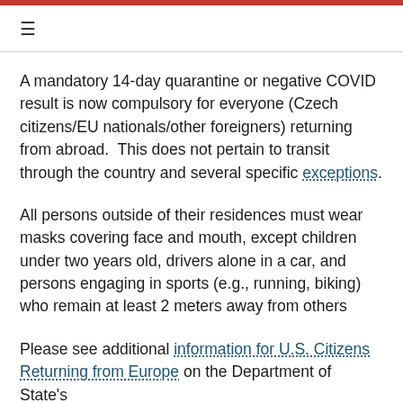≡
A mandatory 14-day quarantine or negative COVID result is now compulsory for everyone (Czech citizens/EU nationals/other foreigners) returning from abroad.  This does not pertain to transit through the country and several specific exceptions.
All persons outside of their residences must wear masks covering face and mouth, except children under two years old, drivers alone in a car, and persons engaging in sports (e.g., running, biking) who remain at least 2 meters away from others
Please see additional information for U.S. Citizens Returning from Europe on the Department of State's